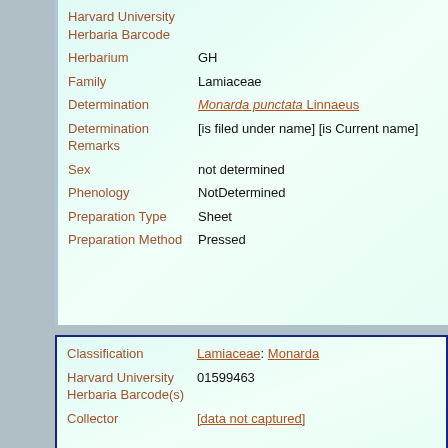| Field | Value |
| --- | --- |
| Harvard University Herbaria Barcode |  |
| Herbarium | GH |
| Family | Lamiaceae |
| Determination | Monarda punctata Linnaeus |
| Determination Remarks | [is filed under name] [is Current name] |
| Sex | not determined |
| Phenology | NotDetermined |
| Preparation Type | Sheet |
| Preparation Method | Pressed |
| Field | Value |
| --- | --- |
| Classification | Lamiaceae: Monarda |
| Harvard University Herbaria Barcode(s) | 01599463 |
| Collector | [data not captured] |